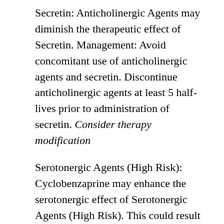Secretin: Anticholinergic Agents may diminish the therapeutic effect of Secretin. Management: Avoid concomitant use of anticholinergic agents and secretin. Discontinue anticholinergic agents at least 5 half-lives prior to administration of secretin. Consider therapy modification
Serotonergic Agents (High Risk): Cyclobenzaprine may enhance the serotonergic effect of Serotonergic Agents (High Risk). This could result in serotonin syndrome. Management: Monitor for signs and symptoms of serotonin syndrome/serotonin toxicity (eg, hyperreflexia, clonus, hyperthermia, diaphoresis, tremor, autonomic instability,